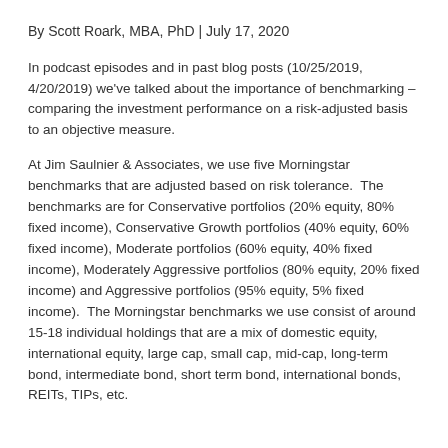By Scott Roark, MBA, PhD | July 17, 2020
In podcast episodes and in past blog posts (10/25/2019, 4/20/2019) we've talked about the importance of benchmarking – comparing the investment performance on a risk-adjusted basis to an objective measure.
At Jim Saulnier & Associates, we use five Morningstar benchmarks that are adjusted based on risk tolerance.  The benchmarks are for Conservative portfolios (20% equity, 80% fixed income), Conservative Growth portfolios (40% equity, 60% fixed income), Moderate portfolios (60% equity, 40% fixed income), Moderately Aggressive portfolios (80% equity, 20% fixed income) and Aggressive portfolios (95% equity, 5% fixed income).  The Morningstar benchmarks we use consist of around 15-18 individual holdings that are a mix of domestic equity, international equity, large cap, small cap, mid-cap, long-term bond, intermediate bond, short term bond, international bonds, REITs, TIPs, etc.